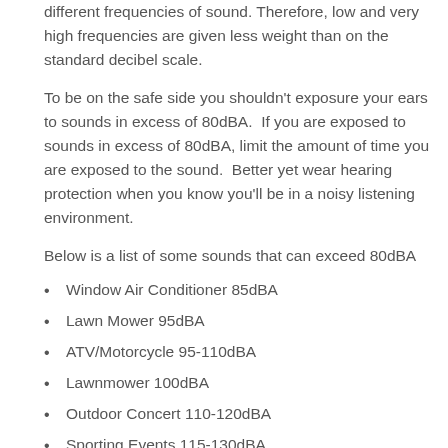different frequencies of sound. Therefore, low and very high frequencies are given less weight than on the standard decibel scale.
To be on the safe side you shouldn't exposure your ears to sounds in excess of 80dBA.  If you are exposed to sounds in excess of 80dBA, limit the amount of time you are exposed to the sound.  Better yet wear hearing protection when you know you'll be in a noisy listening environment.
Below is a list of some sounds that can exceed 80dBA
Window Air Conditioner 85dBA
Lawn Mower 95dBA
ATV/Motorcycle 95-110dBA
Lawnmower 100dBA
Outdoor Concert 110-120dBA
Sporting Events 115-130dBA
Leaf Blower 115dBA